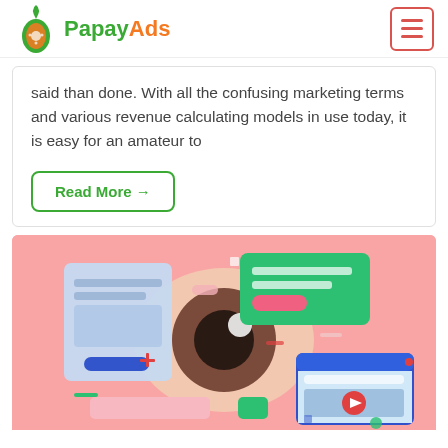PapayAds
said than done. With all the confusing marketing terms and various revenue calculating models in use today, it is easy for an amateur to
Read More →
[Figure (illustration): Illustration on a pink/salmon background showing a large stylized eye in the center, surrounded by floating UI elements: a document card on the left with blue placeholder lines and a blue button, a green notification card on the upper right with a pink button, a browser/video window on the lower right with a red play button, and small decorative shapes (plus sign, dashes, squares, dots) scattered around.]